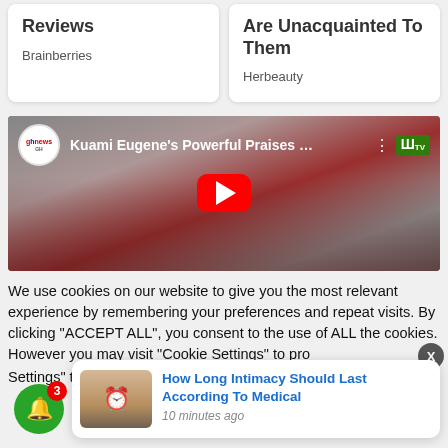Reviews
Brainberries
Are Unacquainted To Them
Herbeauty
[Figure (screenshot): YouTube video embed showing Kuami Eugene's Powerful Praises with a play button overlay]
We use cookies on our website to give you the most relevant experience by remembering your preferences and repeat visits. By clicking "ACCEPT ALL", you consent to the use of ALL the cookies. However you may visit "Cookie Settings" to pro
[Figure (screenshot): Notification popup card: How Long Intimacy Should Last According To Medical - 10 minutes ago]
[Figure (infographic): Green notification bell icon with red badge showing count 3]